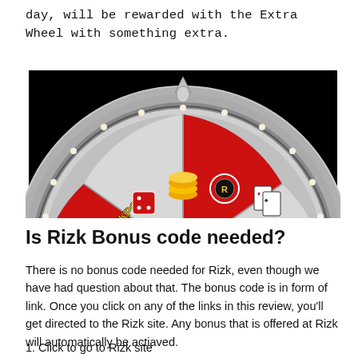day, will be rewarded with the Extra Wheel with something extra.
[Figure (illustration): A casino prize spinning wheel with red and grey segments showing a jackpot sign, dice, coins, casino chips with Rizk logo, playing cards, and other casino rewards against a black background. A silver arrow pointer sits at the top.]
Is Rizk Bonus code needed?
There is no bonus code needed for Rizk, even though we have had question about that. The bonus code is in form of link. Once you click on any of the links in this review, you'll get directed to the Rizk site. Any bonus that is offered at Rizk will automatically be actiaved.
1. Click to go to Rizk site